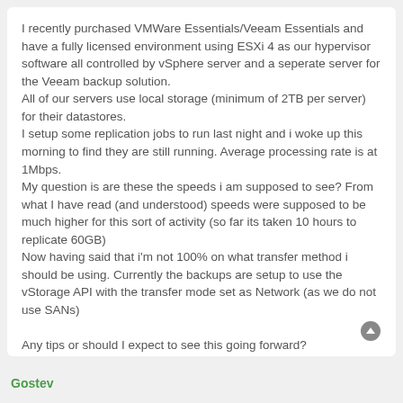I recently purchased VMWare Essentials/Veeam Essentials and have a fully licensed environment using ESXi 4 as our hypervisor software all controlled by vSphere server and a seperate server for the Veeam backup solution.
All of our servers use local storage (minimum of 2TB per server) for their datastores.
I setup some replication jobs to run last night and i woke up this morning to find they are still running. Average processing rate is at 1Mbps.
My question is are these the speeds i am supposed to see? From what I have read (and understood) speeds were supposed to be much higher for this sort of activity (so far its taken 10 hours to replicate 60GB)
Now having said that i'm not 100% on what transfer method i should be using. Currently the backups are setup to use the vStorage API with the transfer mode set as Network (as we do not use SANs)

Any tips or should I expect to see this going forward?
Gostev